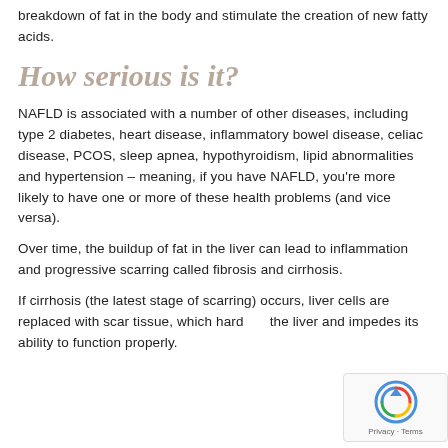breakdown of fat in the body and stimulate the creation of new fatty acids.
How serious is it?
NAFLD is associated with a number of other diseases, including type 2 diabetes, heart disease, inflammatory bowel disease, celiac disease, PCOS, sleep apnea, hypothyroidism, lipid abnormalities and hypertension – meaning, if you have NAFLD, you're more likely to have one or more of these health problems (and vice versa).
Over time, the buildup of fat in the liver can lead to inflammation and progressive scarring called fibrosis and cirrhosis.
If cirrhosis (the latest stage of scarring) occurs, liver cells are replaced with scar tissue, which hards the liver and impedes its ability to function properly.